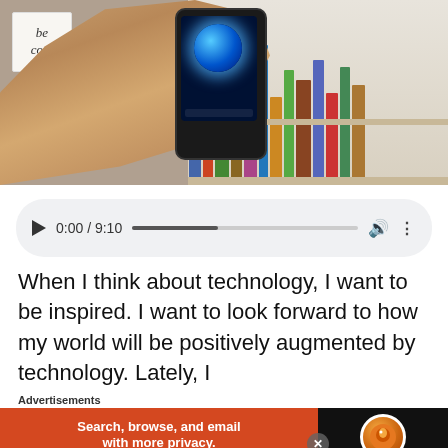[Figure (photo): A hand holding a smartphone displaying a glowing earth/globe on its screen, with a bookshelf of colorful books in the background and a 'be cool' sign on the left.]
[Figure (screenshot): Audio player control bar showing play button, time 0:00 / 9:10, progress bar, volume icon, and more options icon on a light gray rounded rectangle background.]
When I think about technology, I want to be inspired. I want to look forward to how my world will be positively augmented by technology. Lately, I
Advertisements
[Figure (infographic): DuckDuckGo advertisement banner. Left orange section reads 'Search, browse, and email with more privacy.' with 'All in One Free App' button. Right dark section shows DuckDuckGo logo and name.]